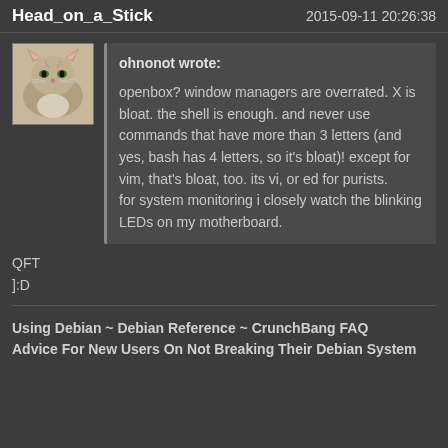Head_on_a_Stick   2015-09-11 20:26:38
[Figure (photo): Avatar photo of a cat (tabby/grey and white)]
ohnonot wrote:
openbox? window managers are overrated. X is bloat. the shell is enough. and never use commands that have more than 3 letters (and yes, bash has 4 letters, so it's bloat)! except for vim, that's bloat, too. its vi, or ed for purists.
for system monitoring i closely watch the blinking LEDs on my motherboard.
QFT
]:D
Using Debian ~ Debian Reference ~ CrunchBang FAQ
Advice For New Users On Not Breaking Their Debian System